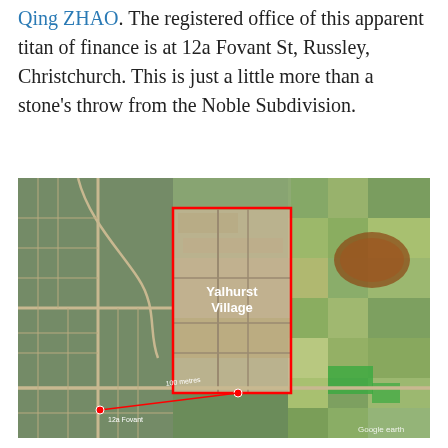Qing ZHAO. The registered office of this apparent titan of finance is at 12a Fovant St, Russley, Christchurch. This is just a little more than a stone's throw from the Noble Subdivision.
[Figure (map): Google Earth aerial/satellite map image showing an urban and rural area. A red rectangle outlines a region labeled 'Yalhurst Village' in white text. A red line extends from around the subdivision to a point marked '12a Fovant' in the lower left urban area. A distance marker reading '100 metres' is shown near the red line. The map shows residential streets on the left, open fields on the right, and a large development area in the centre. 'Google earth' watermark visible in the bottom right corner.]